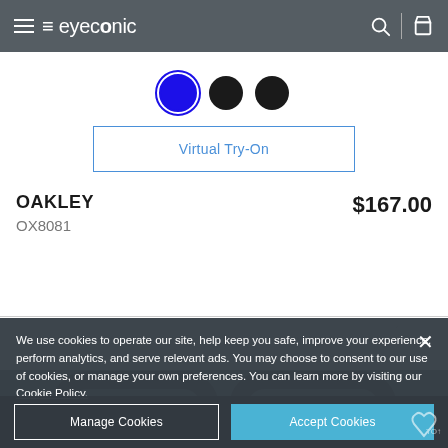eyeconic (navigation header with hamburger menu, search icon, and bag icon)
[Figure (other): Three circular color swatches: blue (selected, with outline border), black, black]
Virtual Try-On
OAKLEY
OX8081
$167.00
We use cookies to operate our site, help keep you safe, improve your experience, perform analytics, and serve relevant ads. You may choose to consent to our use of cookies, or manage your own preferences. You can learn more by visiting our Cookie Policy.
Manage Cookies
Accept Cookies